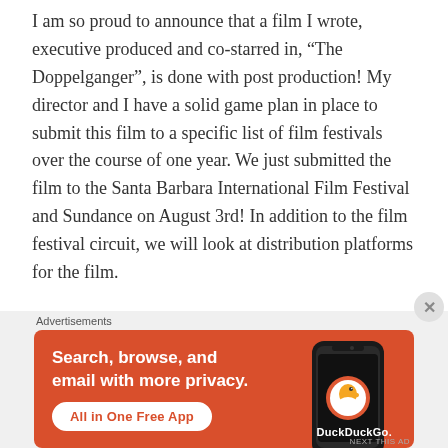I am so proud to announce that a film I wrote, executive produced and co-starred in, “The Doppelganger”, is done with post production! My director and I have a solid game plan in place to submit this film to a specific list of film festivals over the course of one year. We just submitted the film to the Santa Barbara International Film Festival and Sundance on August 3rd! In addition to the film festival circuit, we will look at distribution platforms for the film.
I’ve said it before and I’ll say it again: There is nothing like creating your own evidence. It’s exciting and it truly takes a village of people to come together and bring your vision to life! I am truly grateful
Advertisements
[Figure (screenshot): DuckDuckGo advertisement banner with orange background. Text reads: 'Search, browse, and email with more privacy. All in One Free App' with DuckDuckGo logo and stylized phone graphic.]